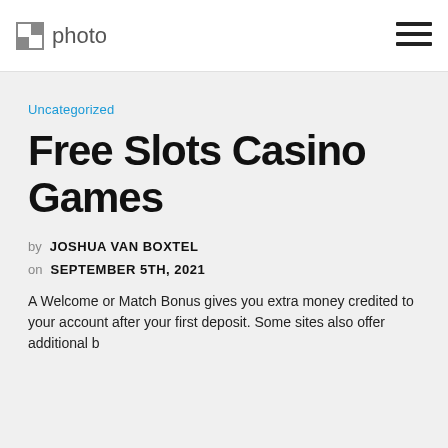photo
Uncategorized
Free Slots Casino Games
by JOSHUA VAN BOXTEL
on SEPTEMBER 5TH, 2021
A Welcome or Match Bonus gives you extra money credited to your account after your first deposit. Some sites also offer additional b...